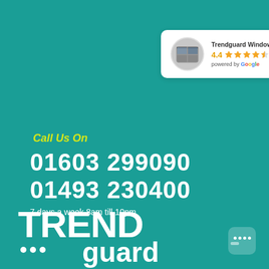[Figure (infographic): Google review widget showing Trendguard Windows & Doors with 4.4 star rating, powered by Google]
Call Us On
01603 299090
01493 230400
7 days a week 8am till 10pm
[Figure (logo): TRENDguard logo in white text with three dots on dark teal background]